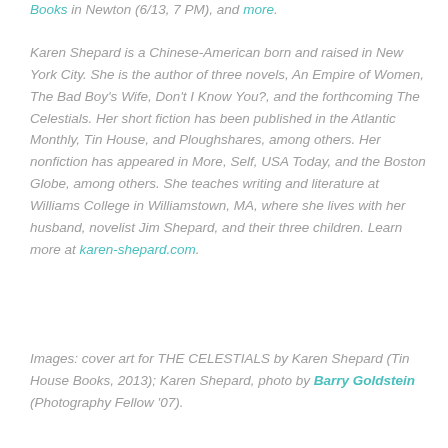Books in Newton (6/13, 7 PM), and more.
Karen Shepard is a Chinese-American born and raised in New York City. She is the author of three novels, An Empire of Women, The Bad Boy's Wife, Don't I Know You?, and the forthcoming The Celestials. Her short fiction has been published in the Atlantic Monthly, Tin House, and Ploughshares, among others. Her nonfiction has appeared in More, Self, USA Today, and the Boston Globe, among others. She teaches writing and literature at Williams College in Williamstown, MA, where she lives with her husband, novelist Jim Shepard, and their three children. Learn more at karen-shepard.com.
Images: cover art for THE CELESTIALS by Karen Shepard (Tin House Books, 2013); Karen Shepard, photo by Barry Goldstein (Photography Fellow '07).